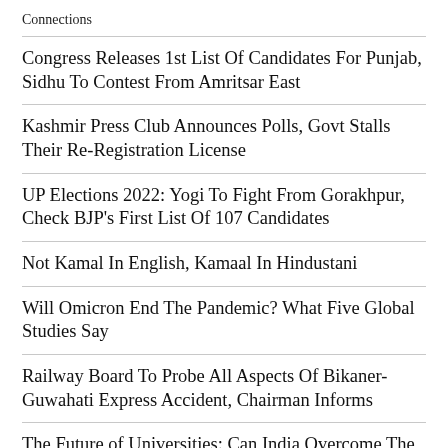Connections
Congress Releases 1st List Of Candidates For Punjab, Sidhu To Contest From Amritsar East
Kashmir Press Club Announces Polls, Govt Stalls Their Re-Registration License
UP Elections 2022: Yogi To Fight From Gorakhpur, Check BJP's First List Of 107 Candidates
Not Kamal In English, Kamaal In Hindustani
Will Omicron End The Pandemic? What Five Global Studies Say
Railway Board To Probe All Aspects Of Bikaner-Guwahati Express Accident, Chairman Informs
The Future of Universities: Can India Overcome The Digital Divide?